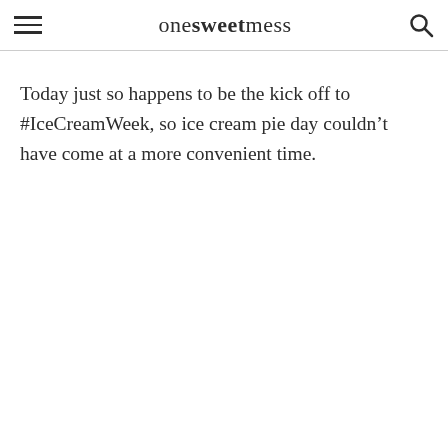one sweet mess
Today just so happens to be the kick off to #IceCreamWeek, so ice cream pie day couldn’t have come at a more convenient time.